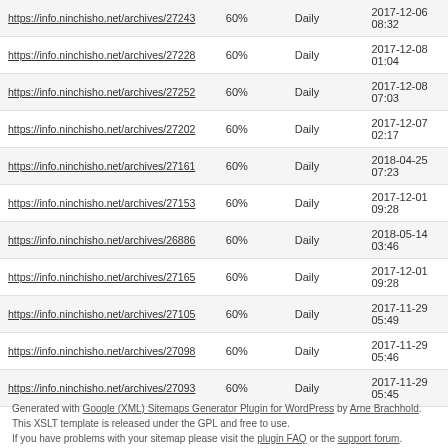| https://info.ninchisho.net/archives/27243 | 60% | Daily | 2017-12-06 08:32 |
| https://info.ninchisho.net/archives/27228 | 60% | Daily | 2017-12-08 01:04 |
| https://info.ninchisho.net/archives/27252 | 60% | Daily | 2017-12-08 07:03 |
| https://info.ninchisho.net/archives/27202 | 60% | Daily | 2017-12-07 02:17 |
| https://info.ninchisho.net/archives/27161 | 60% | Daily | 2018-04-25 07:23 |
| https://info.ninchisho.net/archives/27153 | 60% | Daily | 2017-12-01 09:28 |
| https://info.ninchisho.net/archives/26886 | 60% | Daily | 2018-05-14 03:46 |
| https://info.ninchisho.net/archives/27165 | 60% | Daily | 2017-12-01 09:28 |
| https://info.ninchisho.net/archives/27105 | 60% | Daily | 2017-11-29 05:49 |
| https://info.ninchisho.net/archives/27098 | 60% | Daily | 2017-11-29 05:46 |
| https://info.ninchisho.net/archives/27093 | 60% | Daily | 2017-11-29 05:45 |
Generated with Google (XML) Sitemaps Generator Plugin for WordPress by Arne Brachhold. This XSLT template is released under the GPL and free to use. If you have problems with your sitemap please visit the plugin FAQ or the support forum.